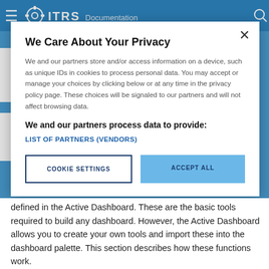[Figure (screenshot): ITRS Documentation website header bar with hamburger menu, gear logo, ITRS title, Documentation subtitle, and search icon on blue background]
We Care About Your Privacy
We and our partners store and/or access information on a device, such as unique IDs in cookies to process personal data. You may accept or manage your choices by clicking below or at any time in the privacy policy page. These choices will be signaled to our partners and will not affect browsing data.
We and our partners process data to provide:
LIST OF PARTNERS (VENDORS)
COOKIE SETTINGS
ACCEPT ALL
defined in the Active Dashboard. These are the basic tools required to build any dashboard. However, the Active Dashboard allows you to create your own tools and import these into the dashboard palette. This section describes how these functions work.